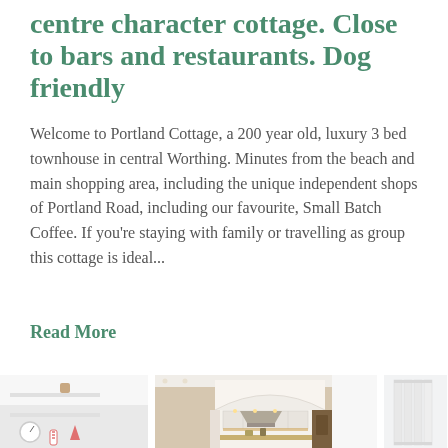centre character cottage. Close to bars and restaurants. Dog friendly
Welcome to Portland Cottage, a 200 year old, luxury 3 bed townhouse in central Worthing. Minutes from the beach and main shopping area, including the unique independent shops of Portland Road, including our favourite, Small Batch Coffee. If you're staying with family or travelling as group this cottage is ideal...
Read More
[Figure (photo): Interior photo showing white shelving unit with small decorative items]
[Figure (photo): Interior kitchen photo with arch doorway, hood extractor and warm lighting]
[Figure (photo): Interior photo showing white vertical radiator]